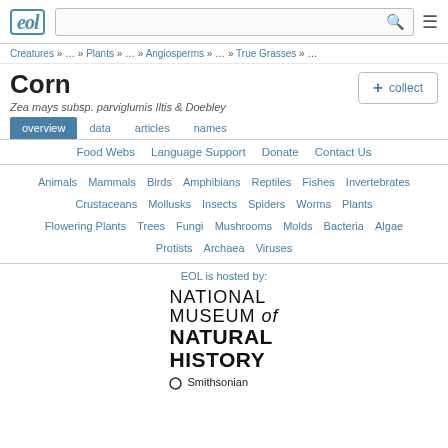EOL - Encyclopedia of Life
Creatures » … » Plants » … » Angiosperms » … » True Grasses » …
Corn
Zea mays subsp. parviglumis Iltis & Doebley
overview | data | articles | names
Food Webs   Language Support   Donate   Contact Us
Animals   Mammals   Birds   Amphibians   Reptiles   Fishes   Invertebrates   Crustaceans   Mollusks   Insects   Spiders   Worms   Plants   Flowering Plants   Trees   Fungi   Mushrooms   Molds   Bacteria   Algae   Protists   Archaea   Viruses
EOL is hosted by:
[Figure (logo): National Museum of Natural History - Smithsonian logo]